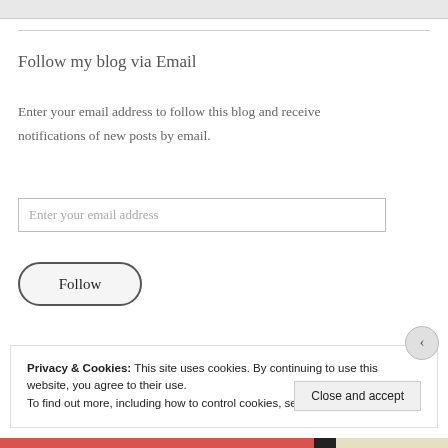[Figure (screenshot): Top image strip showing partial content from above]
Follow my blog via Email
Enter your email address to follow this blog and receive notifications of new posts by email.
Enter your email address
Follow
Privacy & Cookies: This site uses cookies. By continuing to use this website, you agree to their use.
To find out more, including how to control cookies, see here: Cookie Policy
Close and accept